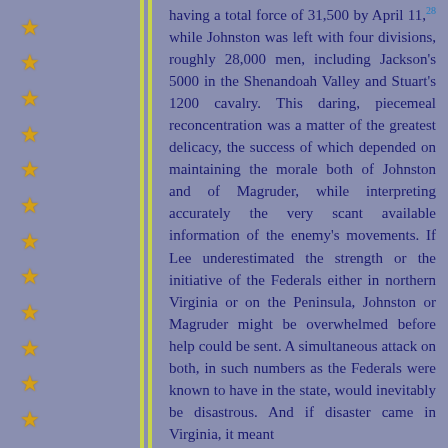having a total force of 31,500 by April 11,28 while Johnston was left with four divisions, roughly 28,000 men, including Jackson's 5000 in the Shenandoah Valley and Stuart's 1200 cavalry. This daring, piecemeal reconcentration was a matter of the greatest delicacy, the success of which depended on maintaining the morale both of Johnston and of Magruder, while interpreting accurately the very scant available information of the enemy's movements. If Lee underestimated the strength or the initiative of the Federals either in northern Virginia or on the Peninsula, Johnston or Magruder might be overwhelmed before help could be sent. A simultaneous attack on both, in such numbers as the Federals were known to have in the state, would inevitably be disastrous. And if disaster came in Virginia, it meant